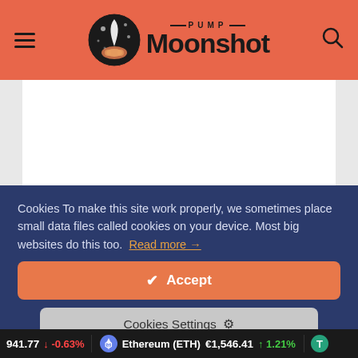PUMP Moonshot
[Figure (screenshot): White/light gray blank content area below the header]
Cookies To make this site work properly, we sometimes place small data files called cookies on your device. Most big websites do this too.  Read more →
✔ Accept
Cookies Settings ⚙
941.77  ↓ -0.63%   Ethereum (ETH) €1,546.41  ↑ 1.21%